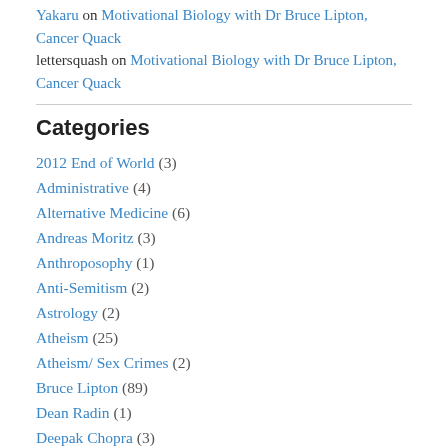Yakaru on Motivational Biology with Dr Bruce Lipton, Cancer Quack
lettersquash on Motivational Biology with Dr Bruce Lipton, Cancer Quack
Categories
2012 End of World (3)
Administrative (4)
Alternative Medicine (6)
Andreas Moritz (3)
Anthroposophy (1)
Anti-Semitism (2)
Astrology (2)
Atheism (25)
Atheism/ Sex Crimes (2)
Bruce Lipton (89)
Dean Radin (1)
Deepak Chopra (3)
History (1)